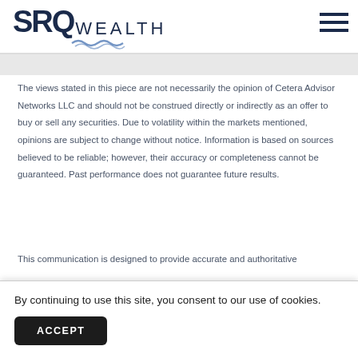SRQ WEALTH
The views stated in this piece are not necessarily the opinion of Cetera Advisor Networks LLC and should not be construed directly or indirectly as an offer to buy or sell any securities. Due to volatility within the markets mentioned, opinions are subject to change without notice. Information is based on sources believed to be reliable; however, their accuracy or completeness cannot be guaranteed. Past performance does not guarantee future results.
This communication is designed to provide accurate and authoritative
By continuing to use this site, you consent to our use of cookies.